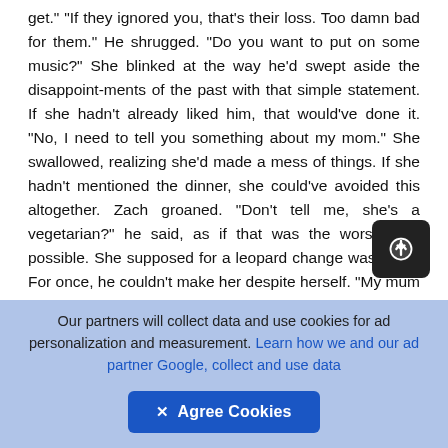get." "If they ignored you, that's their loss. Too damn bad for them." He shrugged. "Do you want to put on some music?" She blinked at the way he'd swept aside the disappoint-ments of the past with that simple statement. If she hadn't already liked him, that would've done it. "No, I need to tell you something about my mom." She swallowed, realizing she'd made a mess of things. If she hadn't mentioned the dinner, she could've avoided this altogether. Zach groaned. "Don't tell me, she's a vegetarian?" he said, as if that was the worst thing possible. She supposed for a leopard change was. "No." For once, he couldn't make her despite herself. "My mum is a little"— she tried to find an easy
Our partners will collect data and use cookies for ad personalization and measurement. Learn how we and our ad partner Google, collect and use data  ✕ Agree Cookies